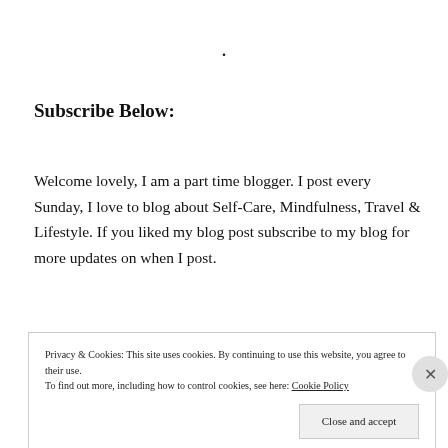·
Subscribe Below:
Welcome lovely, I am a part time blogger. I post every Sunday, I love to blog about Self-Care, Mindfulness, Travel & Lifestyle. If you liked my blog post subscribe to my blog for more updates on when I post.
Privacy & Cookies: This site uses cookies. By continuing to use this website, you agree to their use.
To find out more, including how to control cookies, see here: Cookie Policy
Close and accept